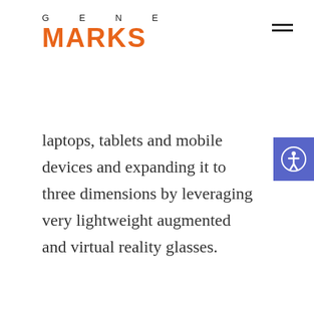GENE MARKS
laptops, tablets and mobile devices and expanding it to three dimensions by leveraging very lightweight augmented and virtual reality glasses.
“You can think of the metaverse as an embodied Internet,” Facebook’s Mark Zuckerberg recently told Casey Newton of The Verge in this great podcast discussion. “Instead